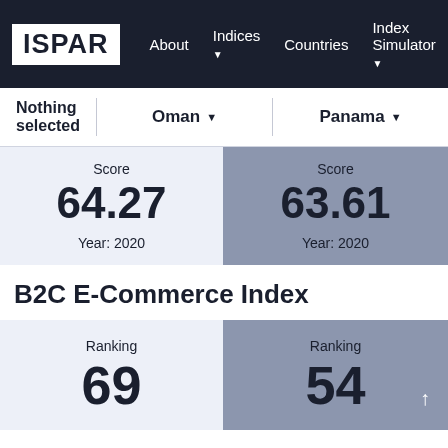ISPAR | About | Indices | Countries | Index Simulator | Themes
Nothing selected | Oman ▼ | Panama ▼
Score 64.27 Year: 2020 (Oman)
Score 63.61 Year: 2020 (Panama)
B2C E-Commerce Index
Ranking 69 (Oman)
Ranking 54 ↑ (Panama)